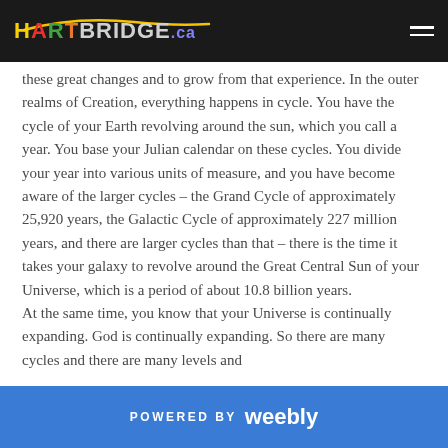HARTBRIDGE.ca
these great changes and to grow from that experience. In the outer realms of Creation, everything happens in cycle. You have the cycle of your Earth revolving around the sun, which you call a year. You base your Julian calendar on these cycles. You divide your year into various units of measure, and you have become aware of the larger cycles – the Grand Cycle of approximately 25,920 years, the Galactic Cycle of approximately 227 million years, and there are larger cycles than that – there is the time it takes your galaxy to revolve around the Great Central Sun of your Universe, which is a period of about 10.8 billion years.
At the same time, you know that your Universe is continually expanding. God is continually expanding. So there are many cycles and there are many levels and
POWERED BY weebly